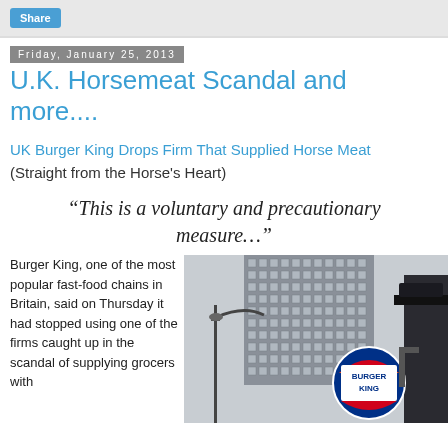Share
Friday, January 25, 2013
U.K. Horsemeat Scandal and more....
UK Burger King Drops Firm That Supplied Horse Meat
(Straight from the Horse's Heart)
“This is a voluntary and precautionary measure…”
Burger King, one of the most popular fast-food chains in Britain, said on Thursday it had stopped using one of the firms caught up in the scandal of supplying grocers with
[Figure (photo): A Burger King sign in front of a tall building, with a street lamp visible, photographed in a dark/moody style.]